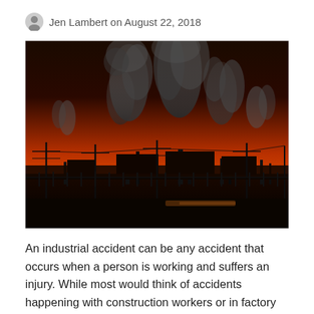Jen Lambert on August 22, 2018
[Figure (photo): Industrial facility at dusk/night with large dark smoke plumes rising against an orange-red sky, silhouette of industrial structures and utility poles in the foreground.]
An industrial accident can be any accident that occurs when a person is working and suffers an injury. While most would think of accidents happening with construction workers or in factory settings, an